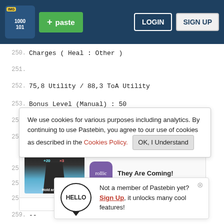[Figure (screenshot): Pastebin website header with logo, green paste button, LOGIN and SIGN UP buttons on dark blue background]
250.  Charges ( Heal : Other )
251.
252.  75,8 Utility / 88,3 ToA Utility
253.  Bonus Level (Manual) : 50
254.
255.  No JS
We use cookies for various purposes including analytics. By continuing to use Pastebin, you agree to our use of cookies as described in the Cookies Policy.   OK, I Understand
256.
257.  --
258.  -
259.  --   Not a member of Pastebin yet? Sign Up, it unlocks many cool features!
260.
[Figure (screenshot): Advertisement: Hold and Move game with Rollic logo, text They Are Coming! and Download button]